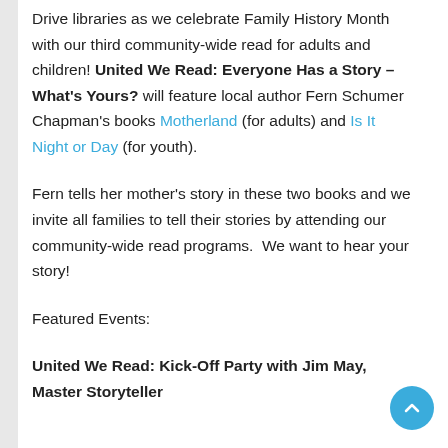Drive libraries as we celebrate Family History Month with our third community-wide read for adults and children! United We Read: Everyone Has a Story – What's Yours? will feature local author Fern Schumer Chapman's books Motherland (for adults) and Is It Night or Day (for youth).
Fern tells her mother's story in these two books and we invite all families to tell their stories by attending our community-wide read programs. We want to hear your story!
Featured Events:
United We Read: Kick-Off Party with Jim May, Master Storyteller